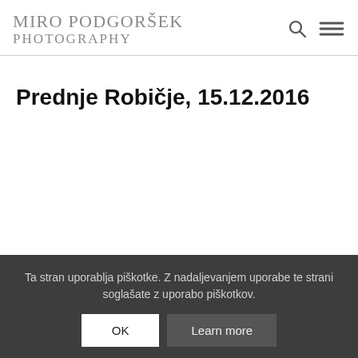MIRO PODGORŠEK PHOTOGRAPHY
Prednje Robičje, 15.12.2016
Ta stran uporablja piškotke. Z nadaljevanjem uporabe te strani soglašate z uporabo piškotkov.